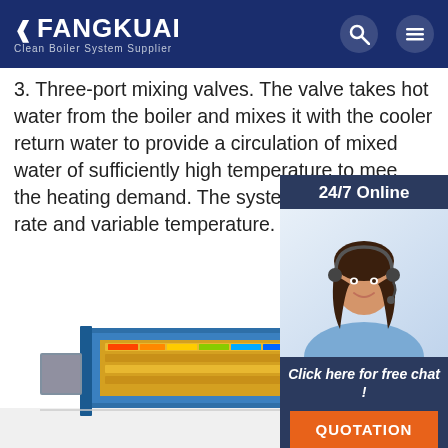FANGKUAI Clean Boiler System Supplier
3. Three-port mixing valves. The valve takes hot water from the boiler and mixes it with the cooler return water to provide a circulation of mixed water of sufficiently high temperature to meet the heating demand. The system operates with rate and variable temperature.
Get Price
[Figure (photo): Customer service representative with headset, 24/7 Online chat widget with QUOTATION button]
[Figure (engineering-diagram): 3D rendering of a clean boiler system with blue structural frame, yellow heat exchanger core, and orange/multicolor thermal visualization]